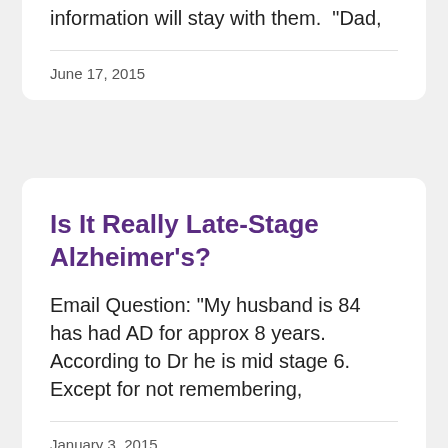information will stay with them.  “Dad,
June 17, 2015
Is It Really Late-Stage Alzheimer’s?
Email Question: “My husband is 84 has had AD for approx 8 years. According to Dr he is mid stage 6. Except for not remembering,
January 3, 2015